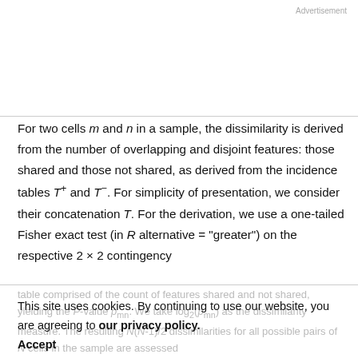Advertisement
For two cells m and n in a sample, the dissimilarity is derived from the number of overlapping and disjoint features: those shared and those not shared, as derived from the incidence tables T⁺ and T⁻. For simplicity of presentation, we consider their concatenation T. For the derivation, we use a one-tailed Fisher exact test (in R alternative = "greater") on the respective 2 × 2 contingency
table comprised of the count of features shared and not shared, yielding the P-value p_mn. We take log₂(p_mn) as the dissimilarity measure. The resulting N(N-1)/2 dissimilarities for all possible pairs of N cells in the sample are assessed
This site uses cookies. By continuing to use our website, you are agreeing to our privacy policy.
Accept